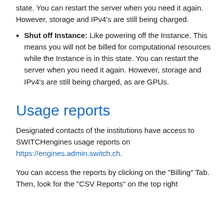state. You can restart the server when you need it again. However, storage and IPv4's are still being charged.
Shut off Instance: Like powering off the Instance. This means you will not be billed for computational resources while the Instance is in this state. You can restart the server when you need it again. However, storage and IPv4's are still being charged, as are GPUs.
Usage reports
Designated contacts of the institutions have access to SWITCHengines usage reports on https://engines.admin.switch.ch.
You can access the reports by clicking on the "Billing" Tab. Then, look for the "CSV Reports" on the top right